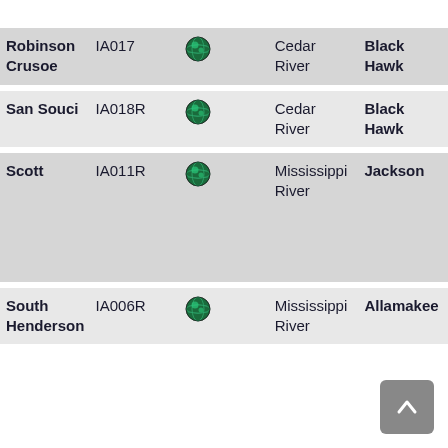| Name | ID | Link | Waterway | County |
| --- | --- | --- | --- | --- |
| Robinson Crusoe | IA017 | [globe] | Cedar River | Black Hawk |
| San Souci | IA018R | [globe] | Cedar River | Black Hawk |
| Scott | IA011R | [globe] | Mississippi River | Jackson |
| South Henderson | IA006R | [globe] | Mississippi River | Allamakee |